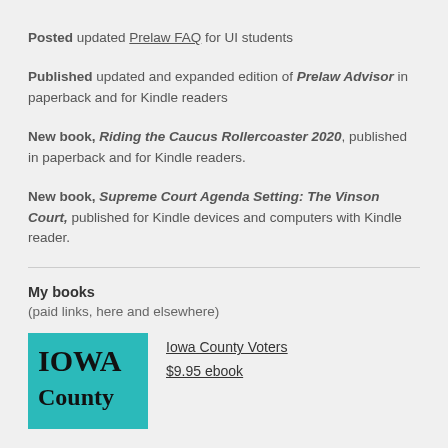Posted updated Prelaw FAQ for UI students
Published updated and expanded edition of Prelaw Advisor in paperback and for Kindle readers
New book, Riding the Caucus Rollercoaster 2020, published in paperback and for Kindle readers.
New book, Supreme Court Agenda Setting: The Vinson Court, published for Kindle devices and computers with Kindle reader.
My books
(paid links, here and elsewhere)
[Figure (illustration): Book cover for Iowa County Voters showing teal/turquoise background with large bold black text reading IOWA County]
Iowa County Voters
$9.95 ebook